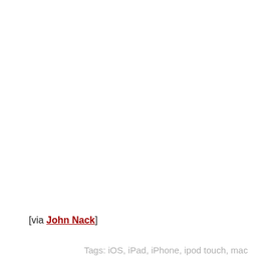[via John Nack]
Tags: iOS, iPad, iPhone, ipod touch, mac